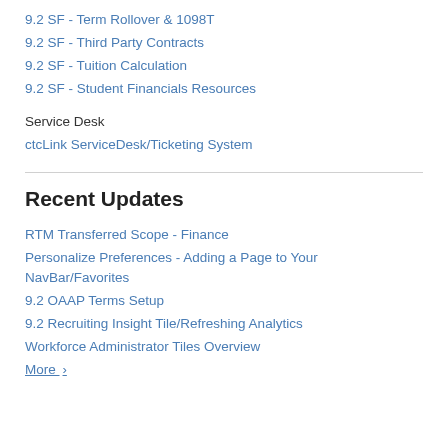9.2 SF - Term Rollover & 1098T
9.2 SF - Third Party Contracts
9.2 SF - Tuition Calculation
9.2 SF - Student Financials Resources
Service Desk
ctcLink ServiceDesk/Ticketing System
Recent Updates
RTM Transferred Scope - Finance
Personalize Preferences - Adding a Page to Your NavBar/Favorites
9.2 OAAP Terms Setup
9.2 Recruiting Insight Tile/Refreshing Analytics
Workforce Administrator Tiles Overview
More ›